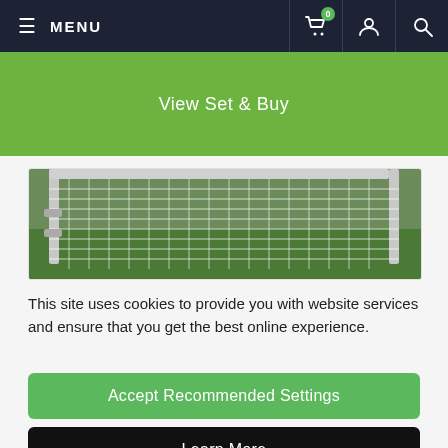MENU
View Set & Buy
[Figure (photo): Close-up photo of a soccer/football goal net with white mesh netting and metal frame posts, green grass visible in background]
This site uses cookies to provide you with website services and ensure that you get the best online experience.
Accept Recommended Settings
Learn More